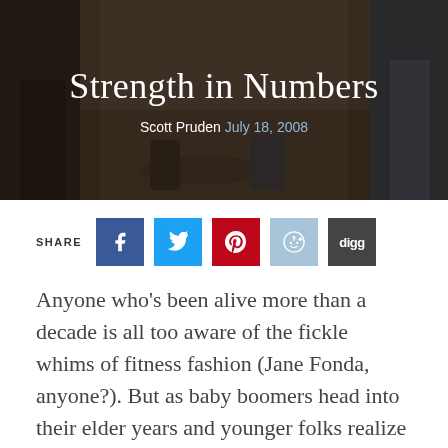[Figure (photo): Hero image with dark background showing feet/legs of people, used as article header background]
Strength in Numbers
Scott Pruden July 18, 2008
SHARE [social buttons: Facebook, Twitter, Pinterest, Reddit, Digg]
Anyone who’s been alive more than a decade is all too aware of the fickle whims of fitness fashion (Jane Fonda, anyone?). But as baby boomers head into their elder years and younger folks realize the importance of long-term health, the vast majority of fitness buffs are looking for something more than a passing thing, something that lasts.